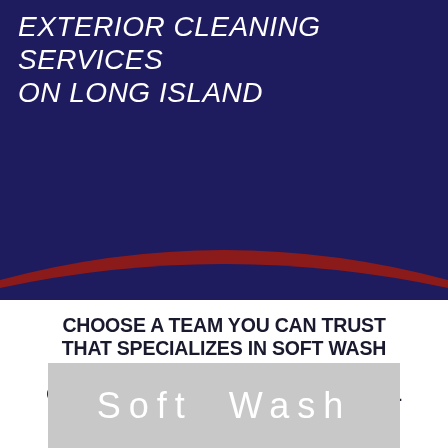EXTERIOR CLEANING SERVICES ON LONG ISLAND
CHOOSE A TEAM YOU CAN TRUST THAT SPECIALIZES IN SOFT WASH ROOF CLEANING & HOUSE WASH CLEANING! PROUDLY SERVICING ALL OF LONG ISLAND!
[Figure (other): Gray banner section with white text reading 'Soft Wash' in wide spaced lettering]